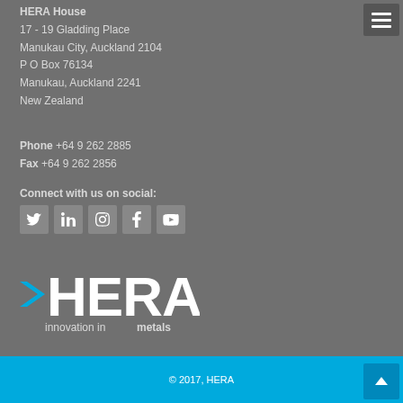HERA House
17 - 19 Gladding Place
Manukau City, Auckland 2104
P O Box 76134
Manukau, Auckland 2241
New Zealand
Phone +64 9 262 2885
Fax +64 9 262 2856
Connect with us on social:
[Figure (infographic): Row of 5 social media icons: Twitter, LinkedIn, Instagram, Facebook, YouTube — white icons on grey square backgrounds]
[Figure (logo): HERA logo — white bold letters HERA with a blue chevron/arrow accent on left, tagline 'innovation in metals' below]
© 2017, HERA